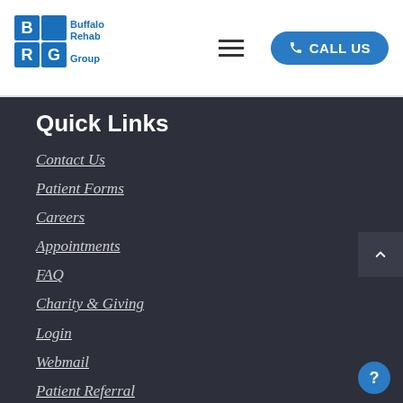Buffalo Rehab Group | Menu | CALL US
Quick Links
Contact Us
Patient Forms
Careers
Appointments
FAQ
Charity & Giving
Login
Webmail
Patient Referral
Privacy Policy